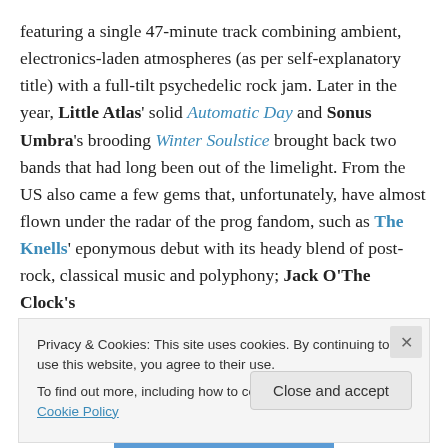featuring a single 47-minute track combining ambient, electronics-laden atmospheres (as per self-explanatory title) with a full-tilt psychedelic rock jam. Later in the year, Little Atlas' solid Automatic Day and Sonus Umbra's brooding Winter Soulstice brought back two bands that had long been out of the limelight. From the US also came a few gems that, unfortunately, have almost flown under the radar of the prog fandom, such as The Knells' eponymous debut with its heady blend of post-rock, classical music and polyphony; Jack O'The Clock's intriguing American folk/RIO crossover All My Friends:
Privacy & Cookies: This site uses cookies. By continuing to use this website, you agree to their use. To find out more, including how to control cookies, see here: Cookie Policy